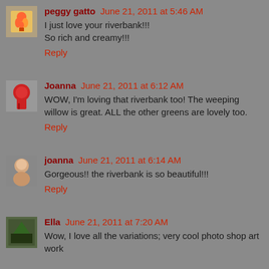peggy gatto June 21, 2011 at 5:46 AM
I just love your riverbank!!!
So rich and creamy!!!
Reply
Joanna June 21, 2011 at 6:12 AM
WOW, I'm loving that riverbank too! The weeping willow is great. ALL the other greens are lovely too.
Reply
joanna June 21, 2011 at 6:14 AM
Gorgeous!! the riverbank is so beautiful!!!
Reply
Ella June 21, 2011 at 7:20 AM
Wow, I love all the variations; very cool photo shop art work